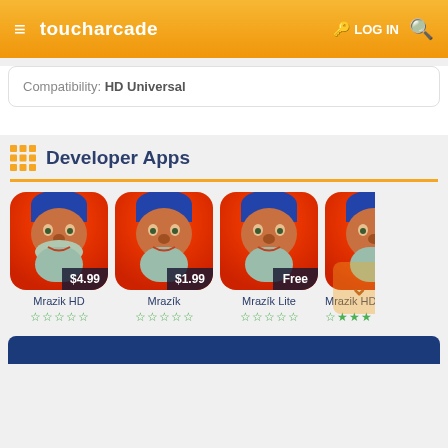toucharcade — LOG IN
Compatibility: HD Universal
Developer Apps
[Figure (screenshot): App icons for Mrazik HD ($4.99), Mrazík ($1.99), Mrazík Lite (Free), Mrazik HD Li (Free) — each showing a cartoon wizard face with long white beard, red/blue hat, against gradient background. Each has a star rating row below (all empty stars, green).]
[Figure (screenshot): Blue navigation bar at bottom of page]